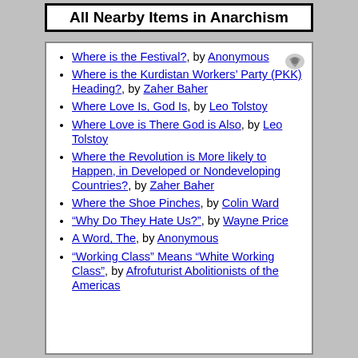All Nearby Items in Anarchism
Where is the Festival?, by Anonymous
Where is the Kurdistan Workers’ Party (PKK) Heading?, by Zaher Baher
Where Love Is, God Is, by Leo Tolstoy
Where Love is There God is Also, by Leo Tolstoy
Where the Revolution is More likely to Happen, in Developed or Nondeveloping Countries?, by Zaher Baher
Where the Shoe Pinches, by Colin Ward
“Why Do They Hate Us?”, by Wayne Price
A Word, The, by Anonymous
“Working Class” Means “White Working Class”, by Afrofuturist Abolitionists of the Americas